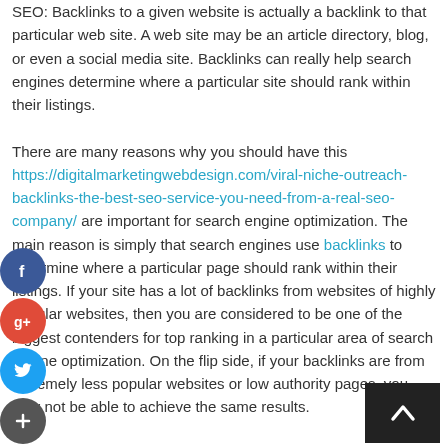SEO: Backlinks to a given website is actually a backlink to that particular web site. A web site may be an article directory, blog, or even a social media site. Backlinks can really help search engines determine where a particular site should rank within their listings.

There are many reasons why you should have this https://digitalmarketingwebdesign.com/viral-niche-outreach-backlinks-the-best-seo-service-you-need-from-a-real-seo-company/ are important for search engine optimization. The main reason is simply that search engines use backlinks to determine where a particular page should rank within their listings. If your site has a lot of backlinks from websites of highly popular websites, then you are considered to be one of the biggest contenders for top ranking in a particular area of search engine optimization. On the flip side, if your backlinks are from extremely less popular websites or low authority pages, you may not be able to achieve the same results.
[Figure (infographic): Social sharing sidebar with Facebook (blue), Google+ (red), Twitter (blue), and Add (+) (dark gray) circular buttons stacked vertically on the left side of the page]
[Figure (infographic): Dark scroll-to-top button with upward-pointing chevron arrow in bottom-right corner]